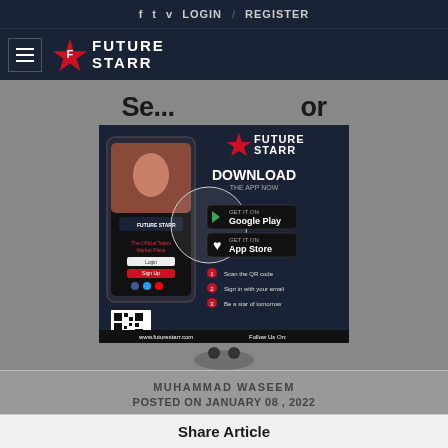f  t  v  LOGIN / REGISTER
[Figure (logo): Future Starr logo with hamburger menu]
Se... ...or
[Figure (infographic): Future Starr app download advertisement showing a smartphone with the app, QR code, Google Play and App Store download buttons, and steps to get started. URL: www.futurestarr.com]
MUHAMMAD WASEEM
POSTED ON JANUARY 08 , 2022
Share Article
[Figure (illustration): Three social media share icon circles at the bottom]